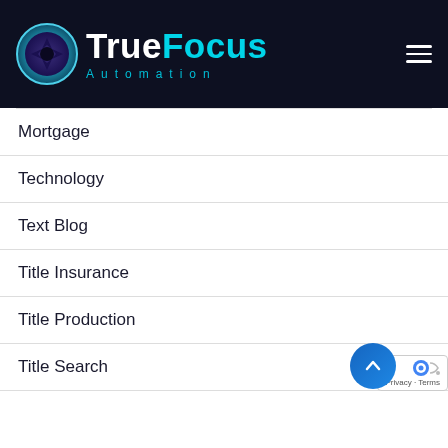TrueFocus Automation
Mortgage
Technology
Text Blog
Title Insurance
Title Production
Title Search